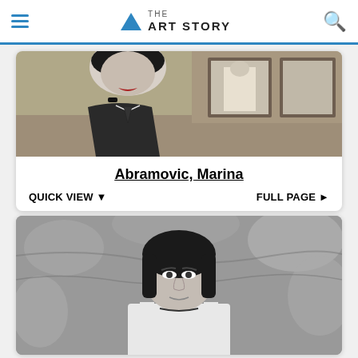THE ART STORY
[Figure (illustration): Illustrated artwork showing a stylized woman in dark clothing with red lips in the foreground, and a framed mirror/image in the background]
Abramovic, Marina
QUICK VIEW ▼    FULL PAGE ►
[Figure (photo): Black and white photograph of a middle-aged woman with dark hair wearing a white tank top and thin necklace, standing in front of a textured background]